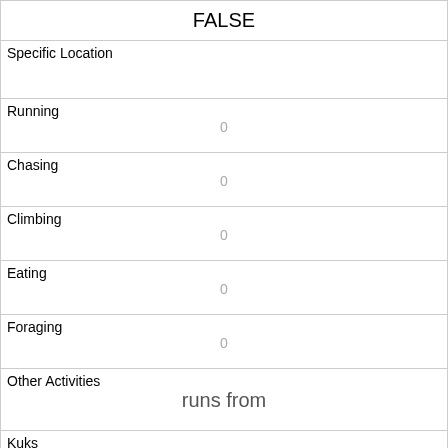| FALSE |
| --- |
| Specific Location |  |
| Running | 0 |
| Chasing | 0 |
| Climbing | 0 |
| Eating | 0 |
| Foraging | 0 |
| Other Activities | runs from |
| Kuks | 0 |
| Quaas | 0 |
| Moans | 0 |